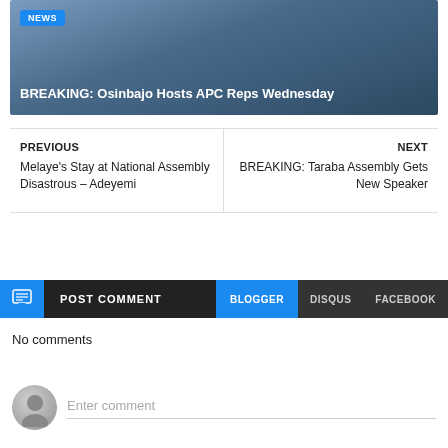[Figure (photo): Hero image of a person in dark clothing holding what appears to be a microphone or similar object, with a blue gradient background]
NEWS
BREAKING: Osinbajo Hosts APC Reps Wednesday
PREVIOUS
Melaye's Stay at National Assembly Disastrous – Adeyemi
NEXT
BREAKING: Taraba Assembly Gets New Speaker
POST COMMENT
BLOGGER
DISQUS
FACEBOOK
No comments
Enter comment